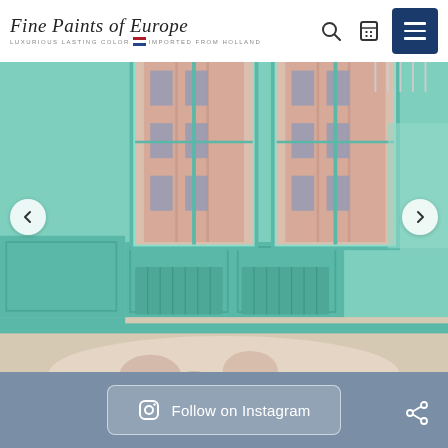[Figure (logo): Fine Paints of Europe logo with script text and tagline 'Luxurious Lasting Color - Imported from Holland']
[Figure (photo): Interior room painted in mint/teal green with windows looking out to a pink building, brass chandelier, and decorative floral rug]
...
Follow on Instagram